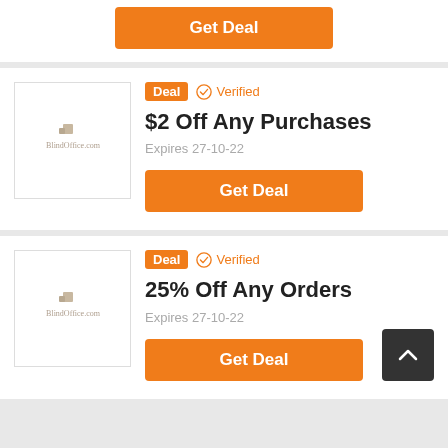[Figure (other): Partial coupon card top showing orange Get Deal button]
[Figure (other): BlindOffice.com store logo placeholder]
Deal  ✓ Verified
$2 Off Any Purchases
Expires 27-10-22
Get Deal
[Figure (other): BlindOffice.com store logo placeholder]
Deal  ✓ Verified
25% Off Any Orders
Expires 27-10-22
Get Deal